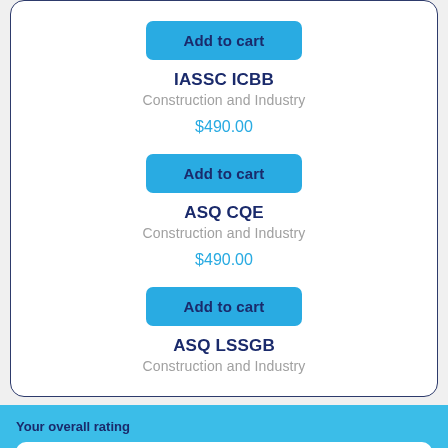Add to cart
IASSC ICBB
Construction and Industry
$490.00
Add to cart
ASQ CQE
Construction and Industry
$490.00
Add to cart
ASQ LSSGB
Construction and Industry
Your overall rating
Select a Rating